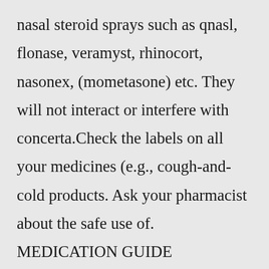nasal steroid sprays such as qnasl, flonase, veramyst, rhinocort, nasonex, (mometasone) etc. They will not interact or interfere with concerta.Check the labels on all your medicines (e.g., cough-and-cold products. Ask your pharmacist about the safe use of. MEDICATION GUIDE ADDERALL XR ® (ADD-ur-all X-R) CII. Keep ADDERALL XR in a safe place to prevent misuse and. stomach acid medicines